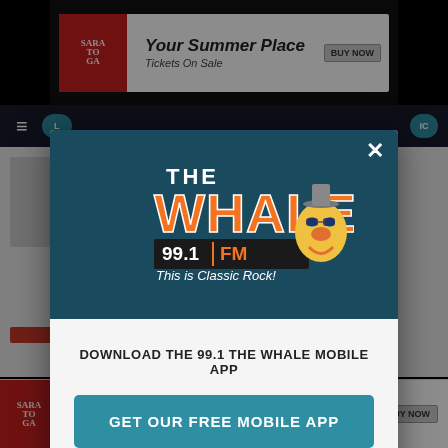[Figure (screenshot): Website background showing Saratoga advertisement banner at top, navigation bar, and page content]
[Figure (logo): The Whale 99.1 FM radio station logo with cartoon character - 'This is Classic Rock!']
DOWNLOAD THE 99.1 THE WHALE MOBILE APP
GET OUR FREE MOBILE APP
Also listen on:  amazon alexa
[Figure (logo): Saratoga Your Summer Place advertisement at bottom - Tickets On Sale, BUY NOW]